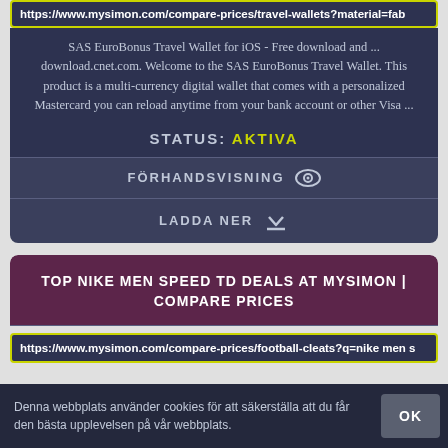https://www.mysimon.com/compare-prices/travel-wallets?material=fab
SAS EuroBonus Travel Wallet for iOS - Free download and ... download.cnet.com. Welcome to the SAS EuroBonus Travel Wallet. This product is a multi-currency digital wallet that comes with a personalized Mastercard you can reload anytime from your bank account or other Visa ...
STATUS: AKTIVA
FÖRHANDSVISNING
LADDA NER
TOP NIKE MEN SPEED TD DEALS AT MYSIMON | COMPARE PRICES
https://www.mysimon.com/compare-prices/football-cleats?q=nike men s
Denna webbplats använder cookies för att säkerställa att du får den bästa upplevelsen på vår webbplats.